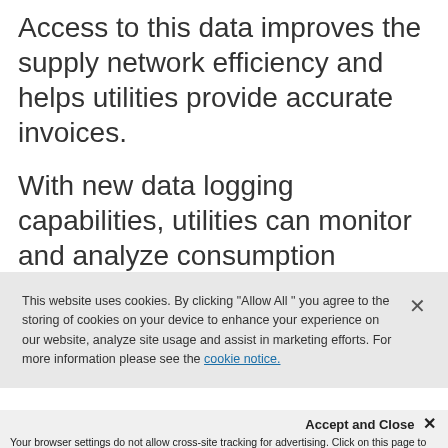Access to this data improves the supply network efficiency and helps utilities provide accurate invoices.
With new data logging capabilities, utilities can monitor and analyze consumption flowing through large
This website uses cookies. By clicking "Allow All" you agree to the storing of cookies on your device to enhance your experience on our website, analyze site usage and assist in marketing efforts. For more information please see the cookie notice.
Accept and Close ×
Your browser settings do not allow cross-site tracking for advertising. Click on this page to allow AdRoll to use cross-site tracking to tailor ads to you. Learn more or opt out of this AdRoll tracking by clicking here. This message only appears once.